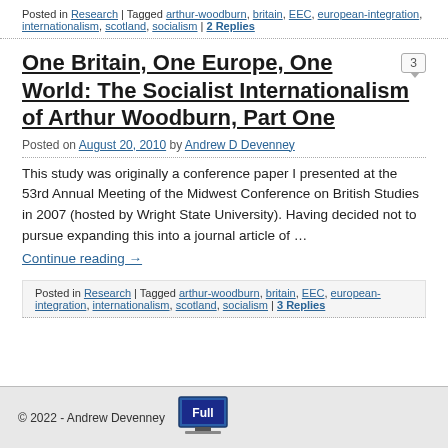Posted in Research | Tagged arthur-woodburn, britain, EEC, european-integration, internationalism, scotland, socialism | 2 Replies
One Britain, One Europe, One World: The Socialist Internationalism of Arthur Woodburn, Part One
Posted on August 20, 2010 by Andrew D Devenney
This study was originally a conference paper I presented at the 53rd Annual Meeting of the Midwest Conference on British Studies in 2007 (hosted by Wright State University). Having decided not to pursue expanding this into a journal article of …
Continue reading →
Posted in Research | Tagged arthur-woodburn, britain, EEC, european-integration, internationalism, scotland, socialism | 3 Replies
© 2022 - Andrew Devenney